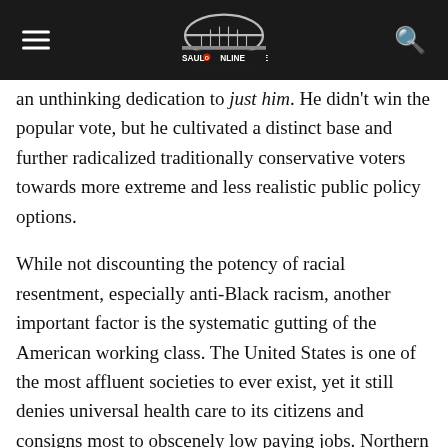SAULT ONLINE
an unthinking dedication to just him. He didn't win the popular vote, but he cultivated a distinct base and further radicalized traditionally conservative voters towards more extreme and less realistic public policy options.
While not discounting the potency of racial resentment, especially anti-Black racism, another important factor is the systematic gutting of the American working class. The United States is one of the most affluent societies to ever exist, yet it still denies universal health care to its citizens and consigns most to obscenely low paying jobs. Northern Ontarians will reflexively identify with the experiences of the so-called 'fly over states' to the south, the ones where a middle-class existence has all but evaporated and the streets are littered with the broken promises of politicians. It's not difficult to understand why someone like Trump would